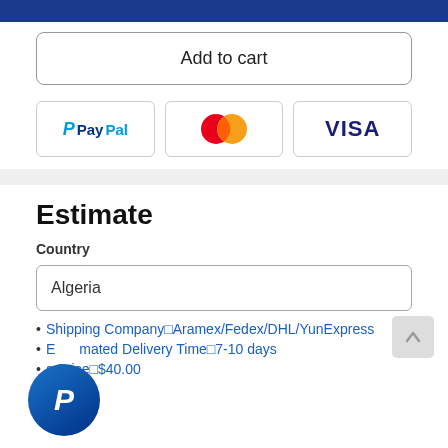[Figure (other): Dark blue button bar at top of page]
Add to cart
[Figure (other): Payment method logos: PayPal, Mastercard, Visa]
Estimate
Country
Algeria
Shipping Company□Aramex/Fedex/DHL/YunExpress
Estimated Delivery Time□7-10 days
g Price□$40.00